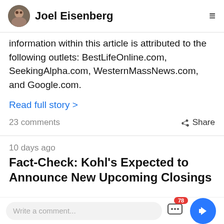Joel Eisenberg
information within this article is attributed to the following outlets: BestLifeOnline.com, SeekingAlpha.com, WesternMassNews.com, and Google.com.
Read full story >
23 comments    Share
10 days ago
Fact-Check: Kohl's Expected to Announce New Upcoming Closings
Write a comment...